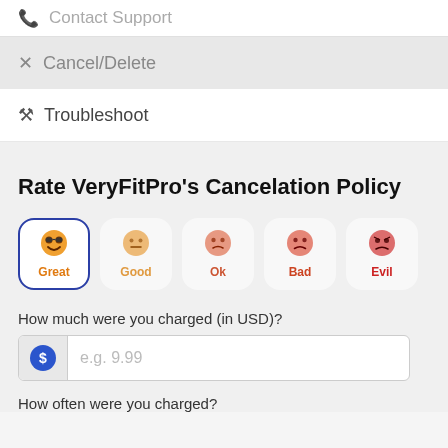Contact Support
Cancel/Delete
Troubleshoot
Rate VeryFitPro's Cancelation Policy
[Figure (infographic): Rating emoji buttons: Great (selected, orange smiley with sunglasses), Good (orange neutral), Ok (red-orange frown), Bad (red frown), Evil (red angry)]
How much were you charged (in USD)?
e.g. 9.99
How often were you charged?